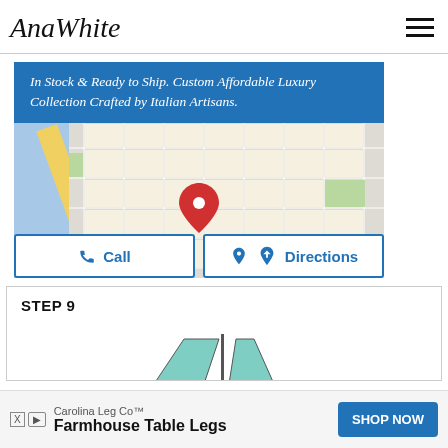AnaWhite
[Figure (screenshot): Advertisement banner with blue background showing text: In Stock & Ready to Ship. Custom Affordable Luxury Collection Crafted by Italian Artisans. Below is a Google Maps view with a red location pin. Buttons for Call and Directions appear at the bottom of the map.]
STEP 9
[Figure (engineering-diagram): Partial engineering/woodworking diagram showing triangular/trapezoidal shapes in teal/light blue, partially cut off at bottom of page.]
[Figure (screenshot): Bottom advertisement banner: Carolina Leg Co™ — Farmhouse Table Legs — SHOP NOW button in blue.]